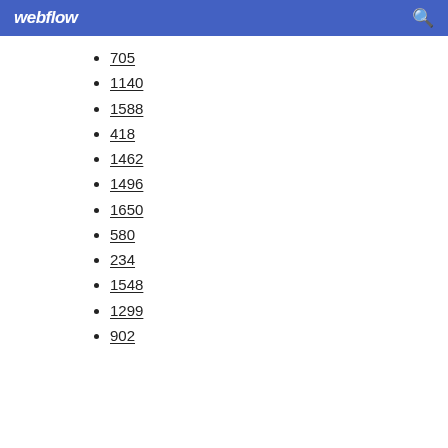webflow
705
1140
1588
418
1462
1496
1650
580
234
1548
1299
902